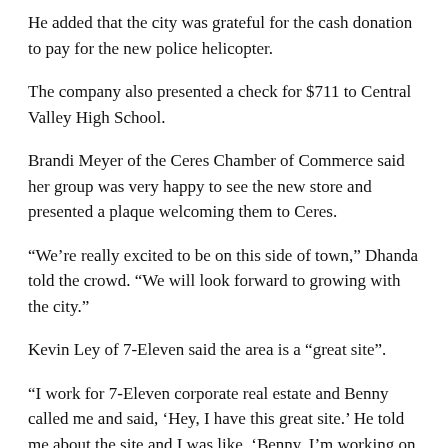He added that the city was grateful for the cash donation to pay for the new police helicopter.
The company also presented a check for $711 to Central Valley High School.
Brandi Meyer of the Ceres Chamber of Commerce said her group was very happy to see the new store and presented a plaque welcoming them to Ceres.
“We’re really excited to be on this side of town,” Dhanda told the crowd. “We will look forward to growing with the city.”
Kevin Ley of 7-Eleven said the area is a “great site”.
“I work for 7-Eleven corporate real estate and Benny called me and said, ‘Hey, I have this great site.’ He told me about the site and I was like, ‘Benny, I’m working on the same site!’ So I know it’s going to be good. Benny has been here for a while now; he’s one